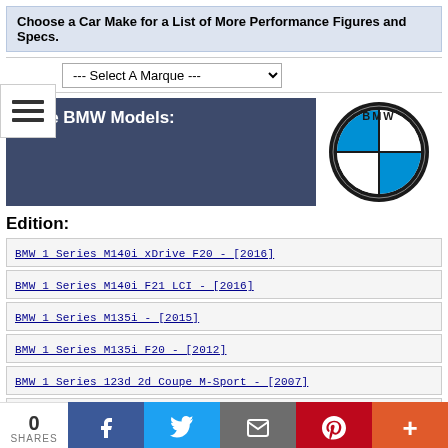Choose a Car Make for a List of More Performance Figures and Specs.
[Figure (screenshot): Dropdown selector labeled '--- Select A Marque ---']
More BMW Models:
[Figure (logo): BMW circular roundel logo — blue and white quadrants with black surround, 'BMW' text across top]
Edition:
BMW 1 Series M140i xDrive F20 - [2016]
BMW 1 Series M140i F21 LCI - [2016]
BMW 1 Series M135i - [2015]
BMW 1 Series M135i F20 - [2012]
BMW 1 Series 123d 2d Coupe M-Sport - [2007]
BMW 1 Series 135i 2d Coupe M-Sport - [2007]
0 SHARES  [Facebook] [Twitter] [Email] [Pinterest] [Plus]